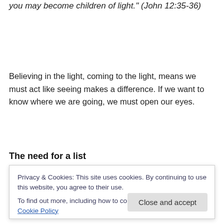you may become children of light." (John 12:35-36)
Believing in the light, coming to the light, means we must act like seeing makes a difference. If we want to know where we are going, we must open our eyes.
The need for a list
But all this religious sounding talk of light and darkness
Privacy & Cookies: This site uses cookies. By continuing to use this website, you agree to their use.
To find out more, including how to control cookies, see here: Cookie Policy